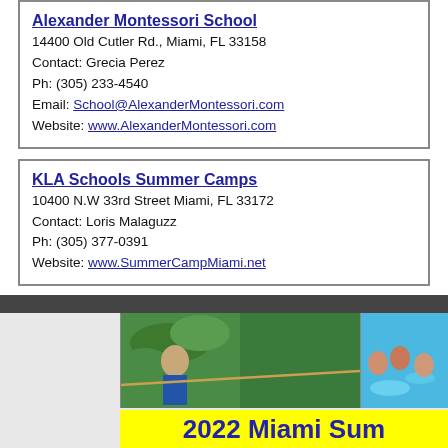Alexander Montessori School
14400 Old Cutler Rd., Miami, FL 33158
Contact: Grecia Perez
Ph: (305) 233-4540
Email: School@AlexanderMontessori.com
Website: www.AlexanderMontessori.com
KLA Schools Summer Camps
10400 N.W 33rd Street Miami, FL 33172
Contact: Loris Malaguzz
Ph: (305) 377-0391
Website: www.SummerCampMiami.net
[Figure (photo): Two side-by-side photos of children at summer camp. Left photo shows a boy smiling while holding a rope in a green outdoor setting. Right photo shows several children splashing in a pool. Below the photos is a yellow banner reading '2022 Miami Sum...']